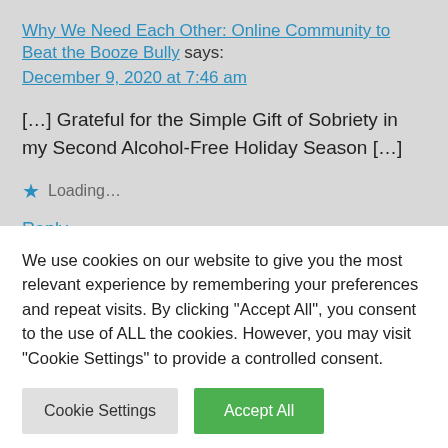Why We Need Each Other: Online Community to Beat the Booze Bully says:
December 9, 2020 at 7:46 am
[…] Grateful for the Simple Gift of Sobriety in my Second Alcohol-Free Holiday Season […]
★ Loading…
Reply
A Sober Girls Guide to the Festive Season and Christmas
We use cookies on our website to give you the most relevant experience by remembering your preferences and repeat visits. By clicking "Accept All", you consent to the use of ALL the cookies. However, you may visit "Cookie Settings" to provide a controlled consent.
Cookie Settings
Accept All